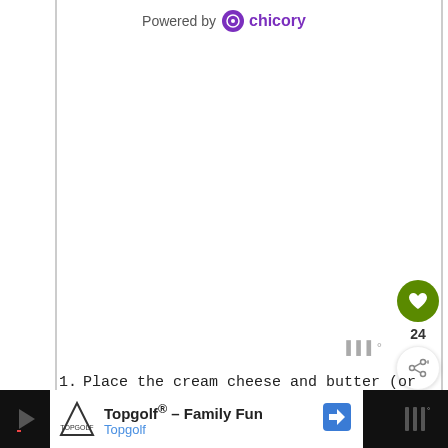Powered by chicory
[Figure (screenshot): White blank area representing a recipe image placeholder area]
[Figure (infographic): Floating action buttons: green heart/favorite button with count 24, and white share button. Temperature indicator showing bar symbol with degree mark.]
Place the cream cheese and butter (or coconut oil) cut into small pieces in to a mixing bowl. Leave at room
[Figure (infographic): Ad banner: Topgolf® - Family Fun, Topgolf advertisement with navigation arrow icon, on dark background]